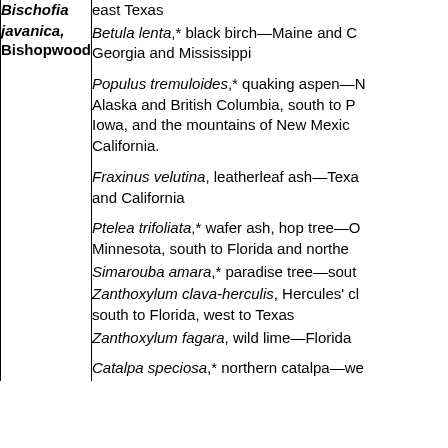east Texas
Betula lenta,* black birch—Maine and Georgia and Mississippi
Populus tremuloides,* quaking aspen—Alaska and British Columbia, south to Iowa, and the mountains of New Mexico California.
Fraxinus velutina, leatherleaf ash—Texas and California
Ptelea trifoliata,* wafer ash, hop tree—Minnesota, south to Florida and northe
Bischofia javanica, Bishopwood
Simarouba amara,* paradise tree—sout
Zanthoxylum clava-herculis, Hercules' cl south to Florida, west to Texas
Zanthoxylum fagara, wild lime—Florida
Catalpa speciosa,* northern catalpa—we